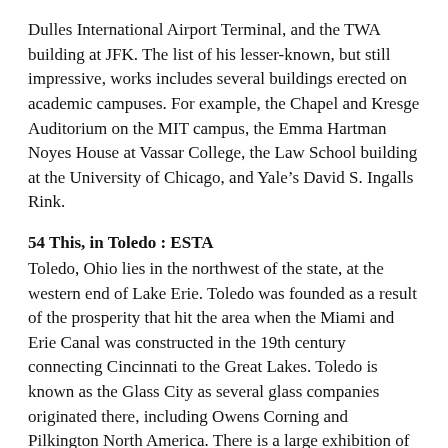Dulles International Airport Terminal, and the TWA building at JFK. The list of his lesser-known, but still impressive, works includes several buildings erected on academic campuses. For example, the Chapel and Kresge Auditorium on the MIT campus, the Emma Hartman Noyes House at Vassar College, the Law School building at the University of Chicago, and Yale's David S. Ingalls Rink.
54 This, in Toledo : ESTA
Toledo, Ohio lies in the northwest of the state, at the western end of Lake Erie. Toledo was founded as a result of the prosperity that hit the area when the Miami and Erie Canal was constructed in the 19th century connecting Cincinnati to the Great Lakes. Toledo is known as the Glass City as several glass companies originated there, including Owens Corning and Pilkington North America. There is a large exhibition of glass art at the Toledo Museum of Art.
60 Kiara's mother in “The Lion King” : NALA
Kiara is the daughter of Simba and Nala in “The Lion...